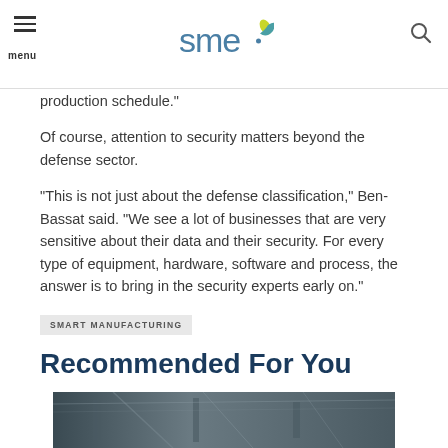SME logo, menu, search
production schedule.”
Of course, attention to security matters beyond the defense sector.
“This is not just about the defense classification,” Ben-Bassat said. “We see a lot of businesses that are very sensitive about their data and their security. For every type of equipment, hardware, software and process, the answer is to bring in the security experts early on.”
SMART MANUFACTURING
Recommended For You
[Figure (photo): Industrial/manufacturing facility interior photo strip at bottom of page]